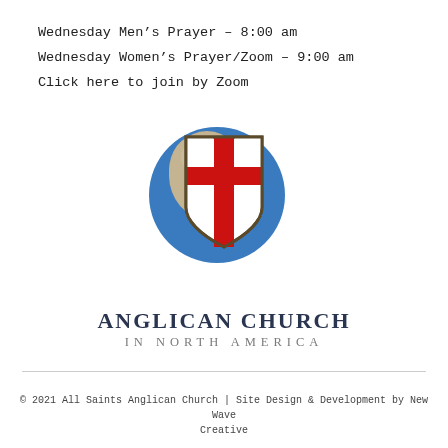Wednesday Men's Prayer – 8:00 am
Wednesday Women's Prayer/Zoom – 9:00 am
Click here to join by Zoom
[Figure (logo): Anglican Church in North America logo: a globe showing North America in blue and tan, overlaid with a heraldic shield showing a red cross on white background. Below the logo the text reads ANGLICAN CHURCH IN NORTH AMERICA.]
© 2021 All Saints Anglican Church | Site Design & Development by New Wave Creative